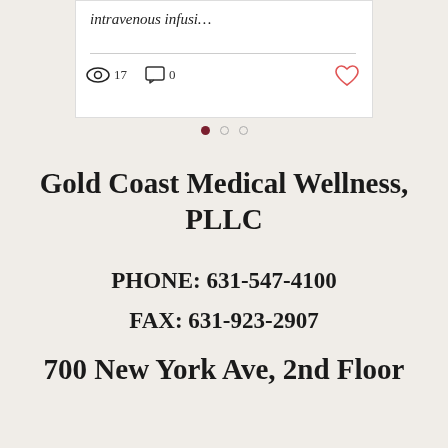[Figure (screenshot): Partial blog post card showing italic text 'intravenous infusi...' with a horizontal divider, eye icon with count 17, comment icon with count 0, and a heart icon]
[Figure (infographic): Pagination dots: one filled dark red dot followed by two empty grey dots]
Gold Coast Medical Wellness, PLLC
PHONE: 631-547-4100
FAX: 631-923-2907
700 New York Ave, 2nd Floor